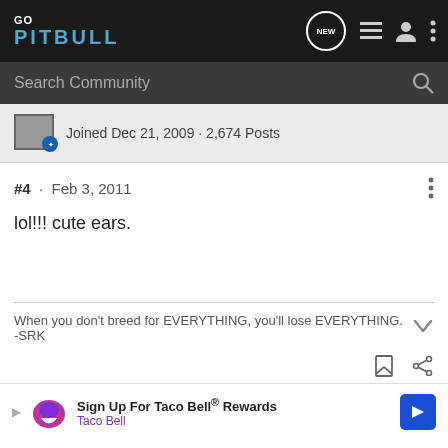GoPitbull
Joined Dec 21, 2009 · 2,674 Posts
#4 · Feb 3, 2011
lol!!! cute ears.
When you don't breed for EVERYTHING, you'll lose EVERYTHING. -SRK
[Figure (other): Taco Bell advertisement banner: Sign Up For Taco Bell® Rewards]